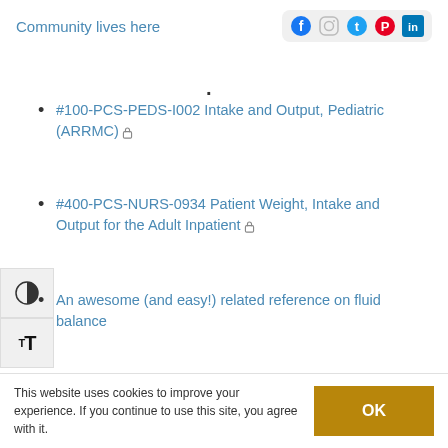Community lives here
#100-PCS-PEDS-I002 Intake and Output, Pediatric (ARRMC) 🔒
#400-PCS-NURS-0934 Patient Weight, Intake and Output for the Adult Inpatient 🔒
An awesome (and easy!) related reference on fluid balance
Post Views: 217
Tags: Anne Hansen, documentation, Epic, intake/output, STAT
This website uses cookies to improve your experience. If you continue to use this site, you agree with it.